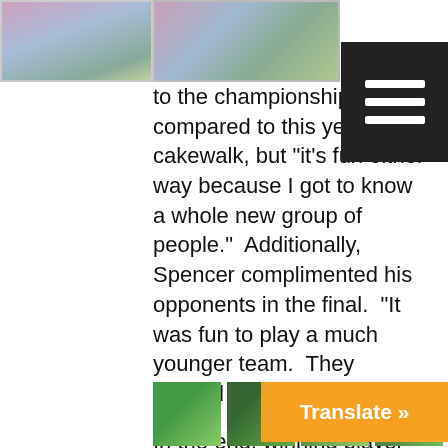[Figure (photo): Top portion of a photo showing people in colorful tie-dye shirts on a grass field]
to the championship, compared to this year's cakewalk, but “it’s fun either way because I got to know a whole new group of people.”  Additionally, Spencer complimented his opponents in the final.  “It was fun to play a much younger team.  They worked really hard.”

In the end, winning player Gabriella voiced what the entire closed is all about.  “We were happy to win but, mostly, we had a lot of fun and laughed a lot.”

See more pictures in the gallery below, and CLICK HERE to see full team photos.  Also see Photo of the Day
[Figure (photo): Row of thumbnail photos at the bottom of the page showing players on a field]
[Figure (other): Orange Translate button in bottom right corner]